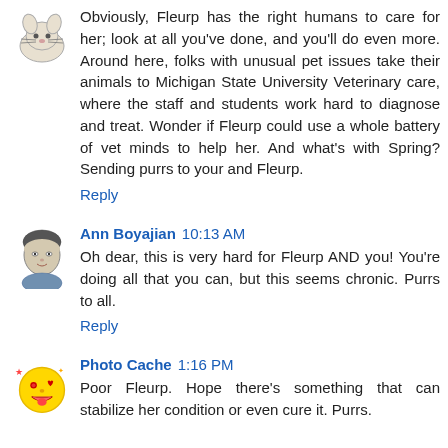Obviously, Fleurp has the right humans to care for her; look at all you've done, and you'll do even more. Around here, folks with unusual pet issues take their animals to Michigan State University Veterinary care, where the staff and students work hard to diagnose and treat. Wonder if Fleurp could use a whole battery of vet minds to help her. And what's with Spring? Sending purrs to your and Fleurp.
Reply
Ann Boyajian  10:13 AM
Oh dear, this is very hard for Fleurp AND you! You're doing all that you can, but this seems chronic. Purrs to all.
Reply
Photo Cache  1:16 PM
Poor Fleurp. Hope there's something that can stabilize her condition or even cure it. Purrs.